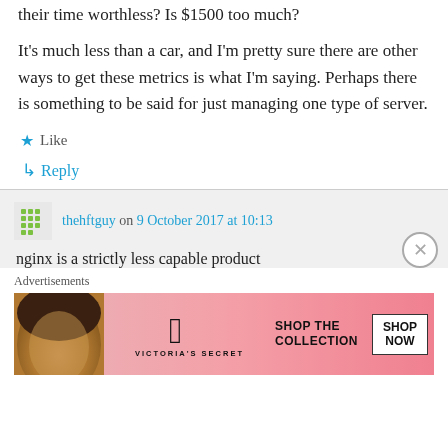their time worthless? Is $1500 too much?
It's much less than a car, and I'm pretty sure there are other ways to get these metrics is what I'm saying. Perhaps there is something to be said for just managing one type of server.
★ Like
↳ Reply
thehftguy on 9 October 2017 at 10:13
nginx is a strictly less capable product
Advertisements
[Figure (illustration): Victoria's Secret advertisement banner with a woman's face on the left, VS logo in the center, and 'SHOP THE COLLECTION / SHOP NOW' button on the right, pink background.]